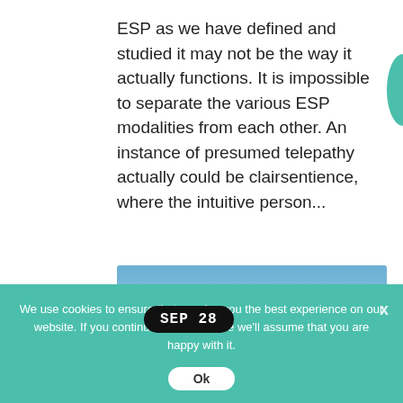ESP as we have defined and studied it may not be the way it actually functions. It is impossible to separate the various ESP modalities from each other. An instance of presumed telepathy actually could be clairsentience, where the intuitive person...
[Figure (photo): Stacked balancing stones on a rocky beach with a sunset sky and clouds in the background. A date badge reading 'SEP 28' overlays the top-left of the image.]
We use cookies to ensure that we give you the best experience on our website. If you continue to use this site we'll assume that you are happy with it.
Ok